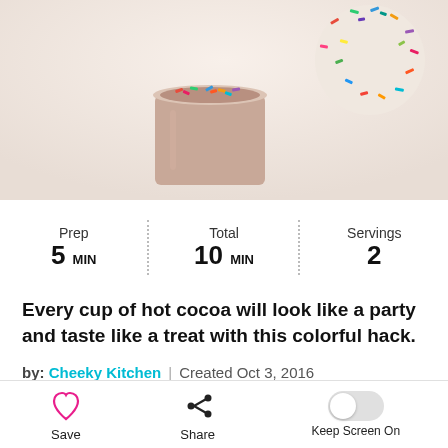[Figure (photo): Hot cocoa in a small round cup with colorful sprinkles on top, alongside a round ball covered in multicolored sprinkles, on a white background.]
| Prep | Total | Servings |
| --- | --- | --- |
| 5 MIN | 10 MIN | 2 |
Every cup of hot cocoa will look like a party and taste like a treat with this colorful hack.
by: Cheeky Kitchen | Created Oct 3, 2016
Advertisement
Recipe Continues Below
Save
Share
Keep Screen On